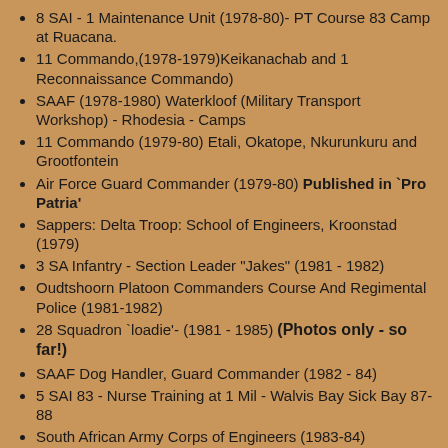8 SAI - 1 Maintenance Unit (1978-80)- PT Course 83 Camp at Ruacana.
11 Commando,(1978-1979)Keikanachab and 1 Reconnaissance Commando)
SAAF (1978-1980) Waterkloof (Military Transport Workshop) - Rhodesia - Camps
11 Commando (1979-80) Etali, Okatope, Nkurunkuru and Grootfontein
Air Force Guard Commander (1979-80) Published in `Pro Patria'
Sappers: Delta Troop: School of Engineers, Kroonstad (1979)
3 SA Infantry - Section Leader "Jakes" (1981 - 1982)
Oudtshoorn Platoon Commanders Course And Regimental Police (1981-1982)
28 Squadron `loadie'- (1981 - 1985) (Photos only - so far!)
SAAF Dog Handler, Guard Commander (1982 - 84)
5 SAI 83 - Nurse Training at 1 Mil - Walvis Bay Sick Bay 87-88
South African Army Corps of Engineers (1983-84)
1 Maintenance Unit - Driver - Sector 20 (1983-84)
National Service via the South African Police (1983-87)
Walvis Bay (2 SAI), SADF Equestrian Centre (Potch), Okatope Sector 10 (1984-85)
Sapper: 21 Field Squadron - Bethlehem - [Served with: